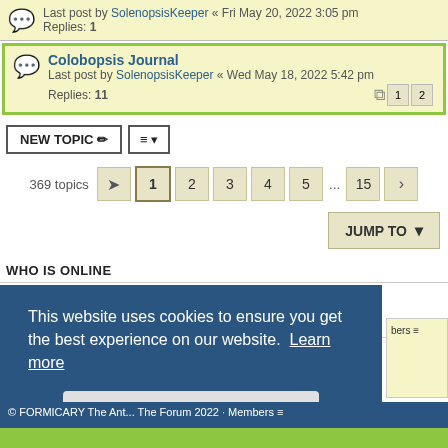Last post by SolenopsisKeeper « Fri May 20, 2022 3:05 pm
Replies: 1
Colobopsis Journal
Last post by SolenopsisKeeper « Wed May 18, 2022 5:42 pm
Replies: 11
NEW TOPIC
369 topics  1  2  3  4  5  ...  15
JUMP TO
WHO IS ONLINE
Users browsing this forum: No registered users and 5 guests
FORUM PERMISSIONS
[Figure (screenshot): Cookie consent banner with text: This website uses cookies to ensure you get the best experience on our website. Learn more. Got it! button.]